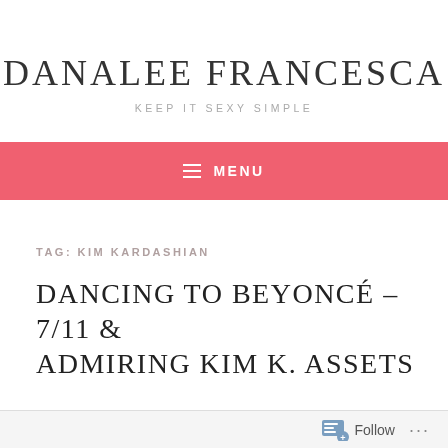DANALEE FRANCESCA
KEEP IT SEXY SIMPLE
≡ MENU
TAG: KIM KARDASHIAN
DANCING TO BEYONCÉ – 7/11 & ADMIRING KIM K. ASSETS
Follow